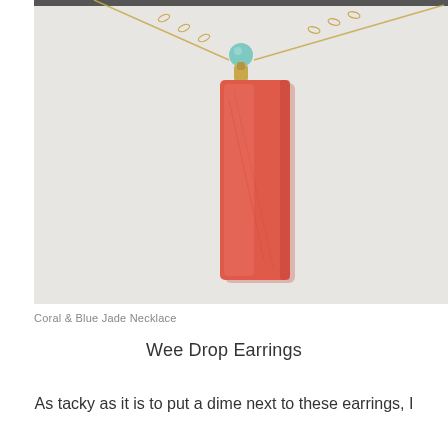[Figure (photo): A coral/salmon colored rectangular bar pendant necklace hanging on a gold chain, with a small turquoise/blue bead accent, photographed against a light gray-white background.]
Coral & Blue Jade Necklace
Wee Drop Earrings
As tacky as it is to put a dime next to these earrings, I